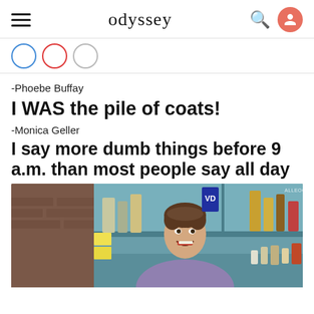odyssey
-Phoebe Buffay
I WAS the pile of coats!
-Monica Geller
I say more dumb things before 9 a.m. than most people say all day
[Figure (photo): Screenshot from the TV show Friends showing a man (Chandler Bing) smiling in what appears to be the Central Perk or apartment setting with shelves of bottles and items in the background. Watermark reads ALLEOOPS.]